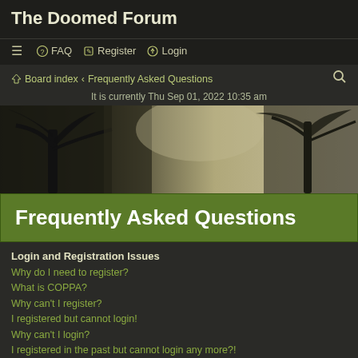The Doomed Forum
☰  FAQ   Register   Login
Board index ‹ Frequently Asked Questions
It is currently Thu Sep 01, 2022 10:35 am
[Figure (photo): Sepia-toned banner image showing bare trees with dark twisted branches against a light sky]
Frequently Asked Questions
Login and Registration Issues
Why do I need to register?
What is COPPA?
Why can't I register?
I registered but cannot login!
Why can't I login?
I registered in the past but cannot login any more?!
I've lost my password!
Why do I get logged off automatically?
What does the "Delete cookies" do?